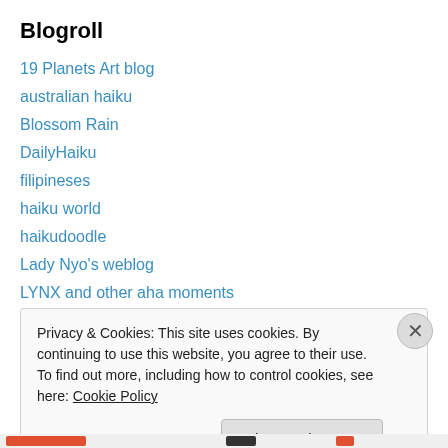Blogroll
19 Planets Art blog
australian haiku
Blossom Rain
DailyHaiku
filipineses
haiku world
haikudoodle
Lady Nyo's weblog
LYNX and other aha moments
Notes from the Gean
otata
Privacy & Cookies: This site uses cookies. By continuing to use this website, you agree to their use. To find out more, including how to control cookies, see here: Cookie Policy
Close and accept